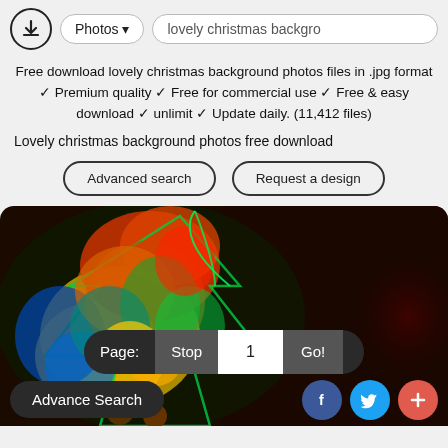[Figure (screenshot): Top navigation bar with download icon, Photos dropdown, and search bar showing 'lovely christmas backgro']
Free download lovely christmas background photos files in .jpg format ✓ Premium quality ✓ Free for commercial use ✓ Free & easy download ✓ unlimit ✓ Update daily. (11,412 files)
Lovely christmas background photos free download
[Figure (screenshot): Two outline buttons: 'Advanced search' and 'Request a design']
[Figure (photo): A colorful psychedelic Christmas tree image with neon colors (red, orange, yellow, green, blue) on a dark background. Below the image is a pagination bar with 'Page: Stop 1 Go!' and a bottom bar with 'Advance Search', Facebook, Twitter, and plus buttons.]